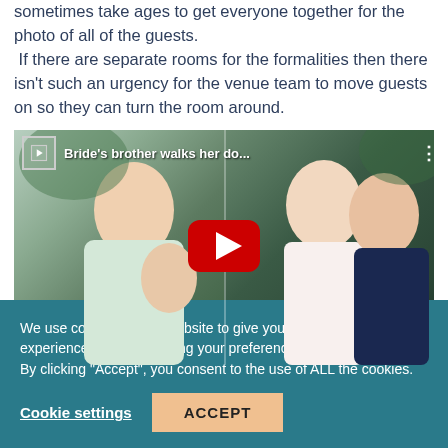sometimes take ages to get everyone together for the photo of all of the guests.
 If there are separate rooms for the formalities then there isn't such an urgency for the venue team to move guests on so they can turn the room around.
[Figure (screenshot): YouTube video thumbnail showing a wedding scene with bride and groom. Title reads 'Bride's brother walks her do...' with a YouTube play button overlay.]
We use cookies on our website to give you the most relevant experience by remembering your preferences and repeat visits. By clicking “Accept”, you consent to the use of ALL the cookies.
Cookie settings
ACCEPT